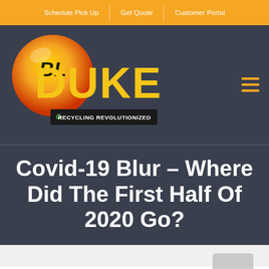Schedule Pick Up | Get Quote | Customer Portal
[Figure (logo): BL Duke Recycling Revolutionized logo — circular yellow/orange/red gradient badge with 'BL' in black, large yellow 'DUKE' text, black bar with recycling icon and 'RECYCLING REVOLUTIONIZED']
Covid-19 Blur – Where Did The First Half Of 2020 Go?
[Figure (photo): Partially visible placeholder/thumbnail image in light gray at bottom right of page]